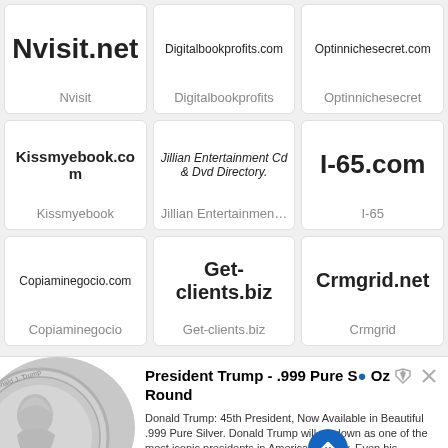Nvisit.net
Nvisit
Digitalbookprofits.com
Digitalbookprofits
Optinnichesecret.com
Optinnichesecret
Kissmyebook.com
Kissmyebook
Jillian Entertainment Cd & Dvd Directory.
Jillian Entertainmen...
I-65.com
I-65
Copiaminegocio.com
Copiaminegocio
Get-clients.biz
Get-clients.biz
Crmgrid.net
Crmgrid
[Figure (photo): Silver coin with Donald J. Trump portrait]
President Trump - .999 Pure S... Oz Round
Donald Trump: 45th President, Now Available in Beautiful .999 Pure Silver. Donald Trump will go down as one of the most iconic presidents in American history. Even his detractors, of which